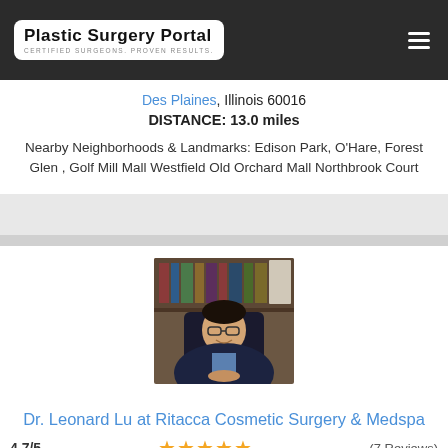Plastic Surgery Portal — CERTIFIED SURGEONS. PROVEN RESULTS.
Des Plaines, Illinois 60016
DISTANCE: 13.0 miles
Nearby Neighborhoods & Landmarks: Edison Park, O'Hare, Forest Glen , Golf Mill Mall Westfield Old Orchard Mall Northbrook Court
[Figure (photo): Professional headshot of Dr. Leonard Lu seated at a desk in front of bookshelves, wearing a dark blazer and blue shirt.]
Dr. Leonard Lu at Ritacca Cosmetic Surgery & Medspa
4.7/5  ★★★★★  (7 Reviews)